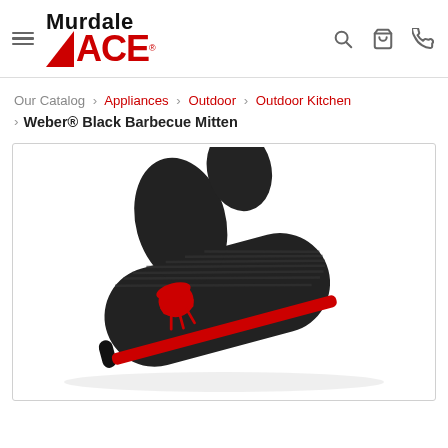Murdale ACE
Our Catalog › Appliances › Outdoor › Outdoor Kitchen › Weber® Black Barbecue Mitten
[Figure (photo): Black Weber barbecue oven mitt with red Weber kettle grill logo on the palm, photographed on white background at an angle showing the padded black fabric and hanging loop.]